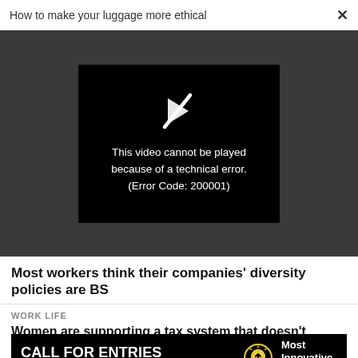How to make your luggage more ethical  ×
[Figure (screenshot): Video player showing black screen with a broken/slashed play icon and error message: 'This video cannot be played because of a technical error. (Error Code: 200001)']
Most workers think their companies' diversity policies are BS
WORK LIFE
Women are supporting a tax system that doesn't support them
[Figure (infographic): Advertisement banner: 'CALL FOR ENTRIES DEADLINE: SEPTEMBER 23' with a lightbulb icon and 'Most Innovative Companies' text on black background]